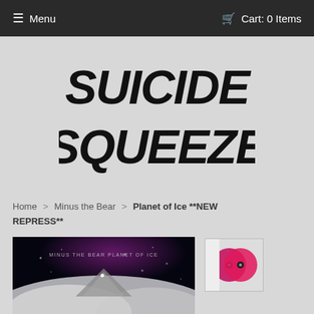☰ Menu   🛒 Cart: 0 Items
[Figure (logo): Suicide Squeeze Records handwritten-style logo in bold black brush lettering]
Home > Minus the Bear > Planet of Ice **NEW REPRESS**
[Figure (photo): Album cover for Minus the Bear - Planet of Ice: dark moody nighttime mountain/cloud landscape in black and white with purple sky]
[Figure (photo): Small thumbnail of pink/red vinyl records]